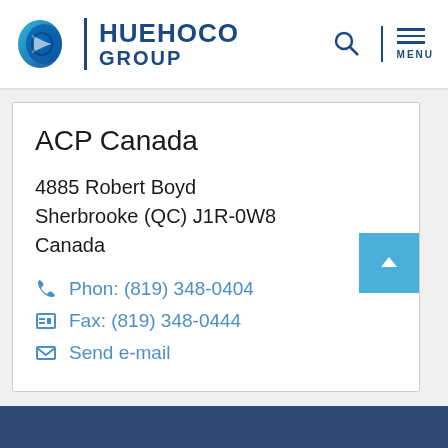HUEHOCO GROUP
ACP Canada
4885 Robert Boyd
Sherbrooke (QC) J1R-0W8
Canada
Phon: (819) 348-0404
Fax: (819) 348-0444
Send e-mail